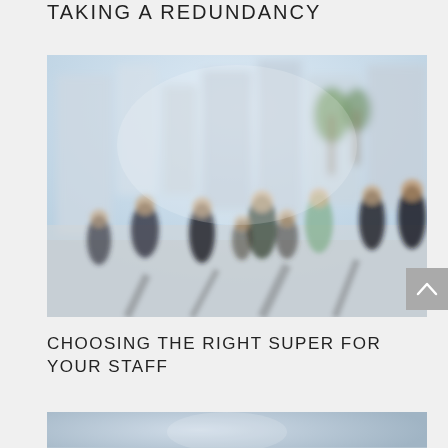TAKING A REDUNDANCY
[Figure (photo): Blurred photograph of people walking on a busy city street with tall buildings and palm trees in the background, taken in bright daylight with a shallow depth of field]
CHOOSING THE RIGHT SUPER FOR YOUR STAFF
[Figure (photo): Partially visible blurred photograph at the bottom of the page, showing an outdoor scene]